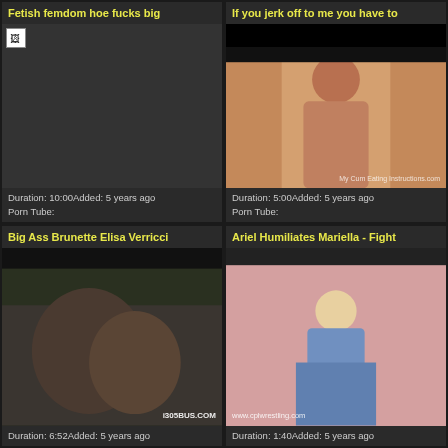Fetish femdom hoe fucks big
Duration: 10:00Added: 5 years ago
Porn Tube:
If you jerk off to me you have to
Duration: 5:00Added: 5 years ago
Porn Tube:
Big Ass Brunette Elisa Verricci
Duration: 6:52Added: 5 years ago
Ariel Humiliates Mariella - Fight
Duration: 1:40Added: 5 years ago